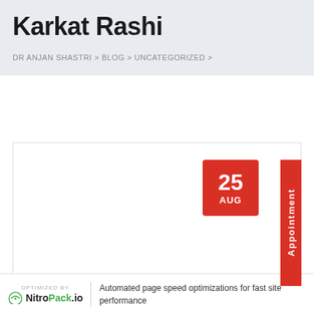Karkat Rashi
DR ANJAN SHASTRI > BLOG > UNCATEGORIZED >
[Figure (infographic): Date badge showing 25 AUG in red with an Appointment vertical tab in red on the right side, within a bordered card area.]
OPTIMIZED BY NitroPack.io | Automated page speed optimizations for fast site performance